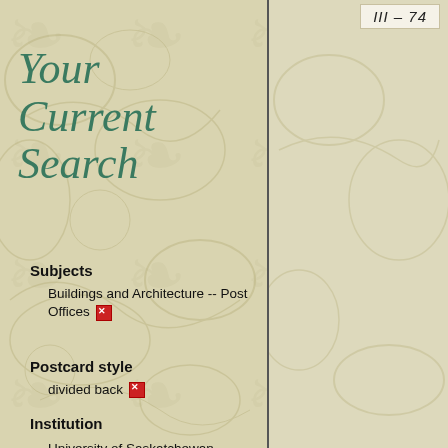[Figure (illustration): Decorative left panel with beige/tan swirling floral background pattern]
Your Current Search
Subjects
Buildings and Architecture -- Post Offices [remove]
Postcard style
divided back [remove]
Institution
University of Saskatchewan Libraries Special Collections [remove]
[Figure (photo): Right panel: beige/cream card with handwritten label 'III-74' at top on white paper slip, decorative background]
III-74